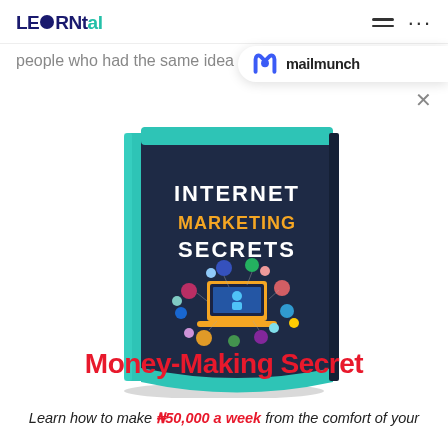LEARNtal
people who had the same idea o...
[Figure (screenshot): Mailmunch overlay bar with logo and text 'mailmunch']
[Figure (illustration): Book cover titled 'INTERNET MARKETING SECRETS' with dark navy background, teal/mint spine, orange text for MARKETING, white text for INTERNET and SECRETS, and digital marketing icons including laptop, social media icons, and people icons in the center.]
Money-Making Secret
Learn how to make ₦50,000 a week from the comfort of your